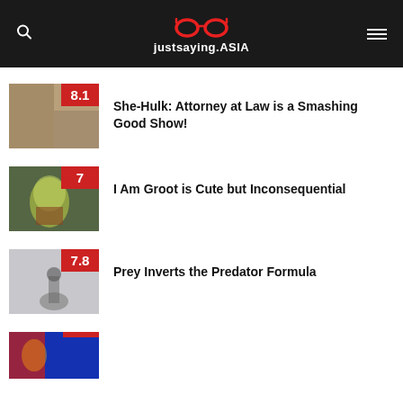justsaying.ASIA
She-Hulk: Attorney at Law is a Smashing Good Show!
I Am Groot is Cute but Inconsequential
Prey Inverts the Predator Formula